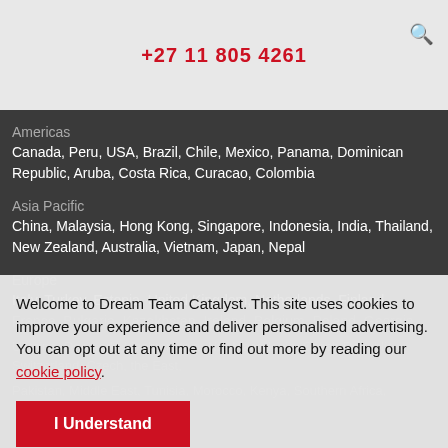+27 11 805 4261
Americas
Canada, Peru, USA, Brazil, Chile, Mexico, Panama, Dominican Republic, Aruba, Costa Rica, Curacao, Colombia
Asia Pacific
China, Malaysia, Hong Kong, Singapore, Indonesia, India, Thailand, New Zealand, Australia, Vietnam, Japan, Nepal
Europe
Italy, Turkey, Estonia, United Kingdom, Netherlands, Finland, France, Bulgaria, Kazakhstan, Ireland, Belgium, Poland, Georgia
Welcome to Dream Team Catalyst. This site uses cookies to improve your experience and deliver personalised advertising. You can opt out at any time or find out more by reading our cookie policy.
I Understand